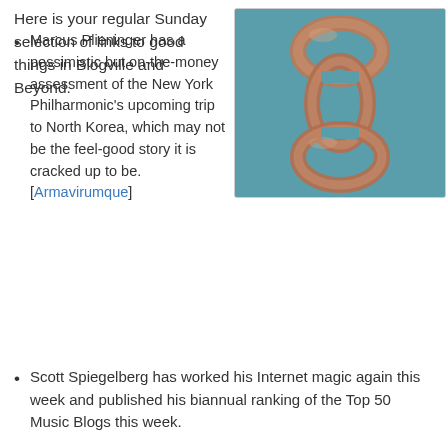Here is your regular Sunday selection of links to good things in Blogville and Beyond.
[Figure (photo): Close-up photograph of interlocked copper/bronze chain links against a teal background]
Marcus Plieninger has a pessimistic but on-the-money assessment of the New York Philharmonic's upcoming trip to North Korea, which may not be the feel-good story it is cracked up to be. [Armavirumque]
Scott Spiegelberg has worked his Internet magic again this week and published his biannual ranking of the Top 50 Music Blogs this week.